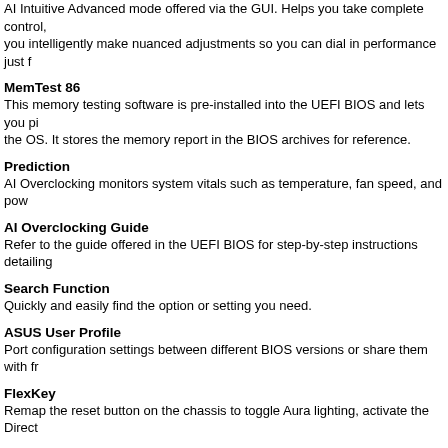AI Intuitive Advanced mode offered via the GUI. Helps you take complete control, you intelligently make nuanced adjustments so you can dial in performance just f
MemTest 86
This memory testing software is pre-installed into the UEFI BIOS and lets you pi the OS. It stores the memory report in the BIOS archives for reference.
Prediction
AI Overclocking monitors system vitals such as temperature, fan speed, and pow
AI Overclocking Guide
Refer to the guide offered in the UEFI BIOS for step-by-step instructions detailing
Search Function
Quickly and easily find the option or setting you need.
ASUS User Profile
Port configuration settings between different BIOS versions or share them with fr
FlexKey
Remap the reset button on the chassis to toggle Aura lighting, activate the Direct
Quick and Simple Setup
EZ mode displays vital settings and stats and also offers guided wizards, drag-a your rig up and running in no time.
AI Overclocking
Enable AI Overclocking via a shortcut.
Intuitive Graphical Fan Control
Fine-tune individual fan settings simply by dragging a curve with the mouse.
Aura On/Off Mode (Stealth)